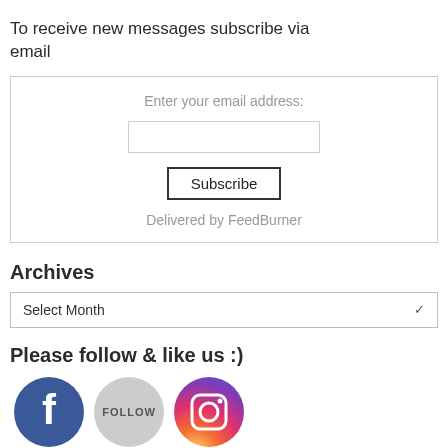To receive new messages subscribe via email
Enter your email address:
Subscribe
Delivered by FeedBurner
Archives
Select Month
Please follow & like us :)
[Figure (illustration): Facebook, Follow (Twitter), and Instagram social media icon buttons]